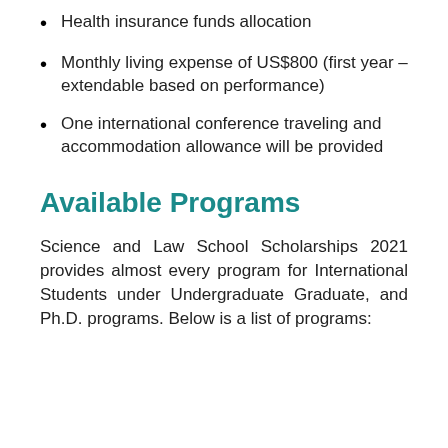Health insurance funds allocation
Monthly living expense of US$800 (first year – extendable based on performance)
One international conference traveling and accommodation allowance will be provided
Available Programs
Science and Law School Scholarships 2021 provides almost every program for International Students under Undergraduate Graduate, and Ph.D. programs. Below is a list of programs: